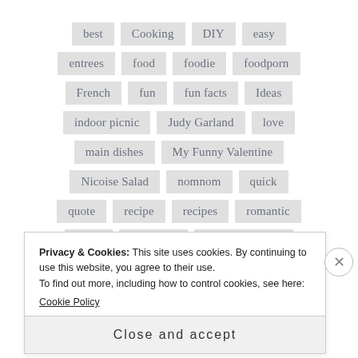best
Cooking
DIY
easy
entrees
food
foodie
foodporn
French
fun
fun facts
Ideas
indoor picnic
Judy Garland
love
main dishes
My Funny Valentine
Nicoise Salad
nomnom
quick
quote
recipe
recipes
romantic
salad
Valentine
Valentine's Day
Privacy & Cookies: This site uses cookies. By continuing to use this website, you agree to their use. To find out more, including how to control cookies, see here: Cookie Policy
Close and accept